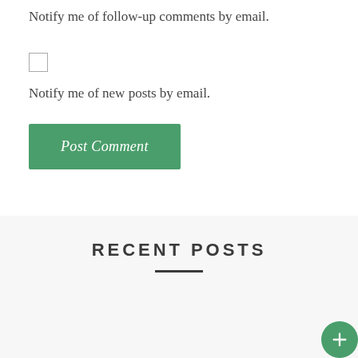Notify me of follow-up comments by email.
Notify me of new posts by email.
Post Comment
RECENT POSTS